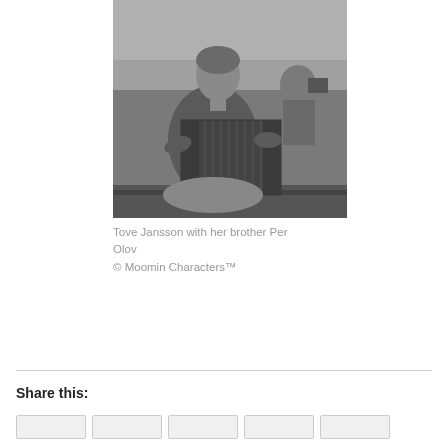[Figure (photo): Black and white photograph of Tove Jansson playing an accordion, with her brother Per Olov visible in the background, seated in what appears to be a boat.]
Tove Jansson with her brother Per Olov
© Moomin Characters™
Share this: